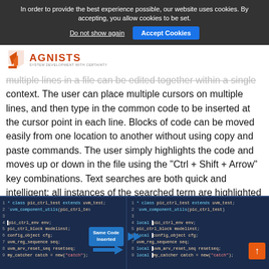In order to provide the best experience possible, our website uses cookies. By accepting, you allow cookies to be set.
Do not show again | Accept Cookies
[Figure (logo): Agnists logo with orange flame icon and text 'AGNISTS - SYSTEM DEVELOPMENT WITH CERTAINTY']
multiple lines in a file can be edited together within a single context. The user can place multiple cursors on multiple lines, and then type in the common code to be inserted at the cursor point in each line. Blocks of code can be moved easily from one location to another without using copy and paste commands. The user simply highlights the code and moves up or down in the file using the “Ctrl + Shift + Arrow” key combinations. Text searches are both quick and intelligent; all instances of the searched term are highlighted in the code and their locations are marked on the scroll bar for easy navigation.
[Figure (screenshot): Code editor screenshot showing two panels side by side with SystemVerilog code. Left panel shows original code, right panel shows code with 'local' keyword inserted. A 'Same Code Inserted' badge with arrow points to the changes.]